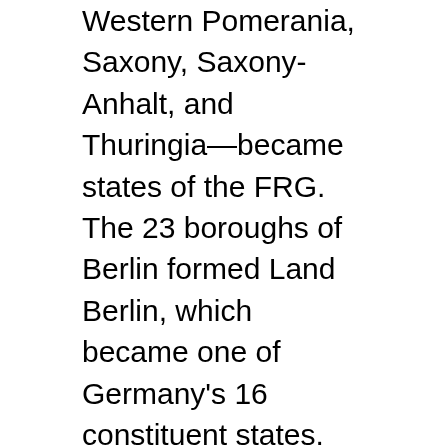Western Pomerania, Saxony, Saxony-Anhalt, and Thuringia—became states of the FRG. The 23 boroughs of Berlin formed Land Berlin, which became one of Germany's 16 constituent states. Berlin was again designated as the capital of united Germany and, after the establishment of German unity, it also became the seat of the parliament and government. The socialist German Democratic Republic, founded after World War II on October 7, 1949, was no longer a satellite state of the Soviet Union and no longer a nation by itself.
Helmut Kohl, who died at age 87 on June 16, 2017, served as Chancellor of the Federal Republic of Germany from 1982 to 1993, then as Chancellor of unified Germany from 1993 to 1998. He witnessed the fall of the Berlin Wall and following that...